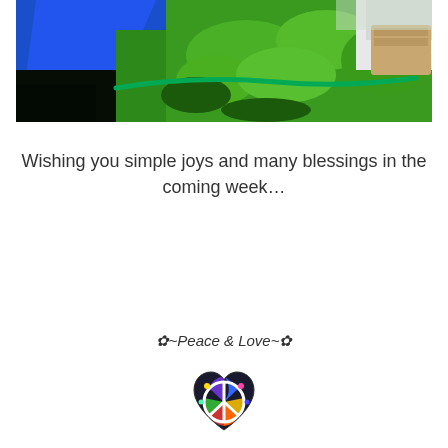[Figure (photo): Outdoor photo showing blue fabric/tarp on the left, bright green grass and plants in the center and right, a green garden hose, and what appears to be a white lacy fabric and a basket on the right side.]
Wishing you simple joys and many blessings in the coming week...
✿~Peace & Love~✿
[Figure (illustration): A heart-shaped peace sign icon with colorful floral/mosaic pattern in blue, purple, yellow, green, and red colors.]